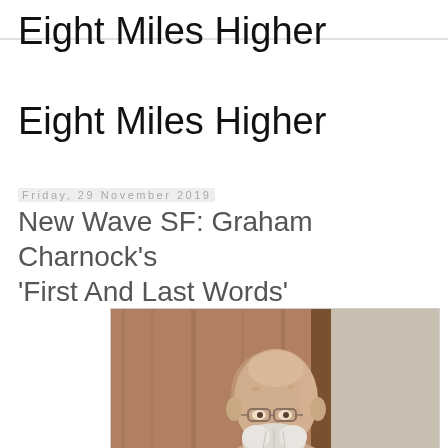Eight Miles Higher
Eight Miles Higher
Friday, 29 November 2019
New Wave SF: Graham Charnock's 'First And Last Words'
[Figure (photo): Portrait photo of an elderly bald man with a white beard wearing glasses, photographed indoors against a wooden door background]